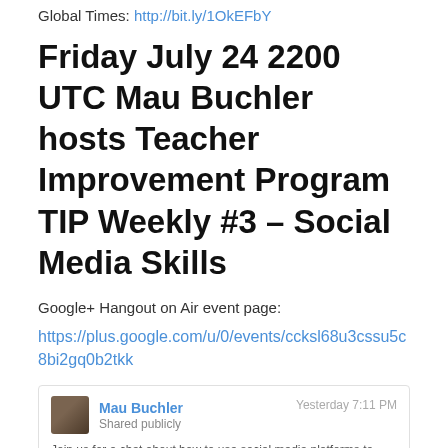Global Times: http://bit.ly/1OkEFbY
Friday July 24 2200 UTC Mau Buchler hosts Teacher Improvement Program TIP Weekly #3 – Social Media Skills
Google+ Hangout on Air event page:
https://plus.google.com/u/0/events/ccksl68u3cssu5c8bi2gq0b2tkk
Mau Buchler
Shared publicly
Yesterday 7:11 PM
Join us for a chat about how to use social media platforms to extend your influence beyond the classroom. Get the full program